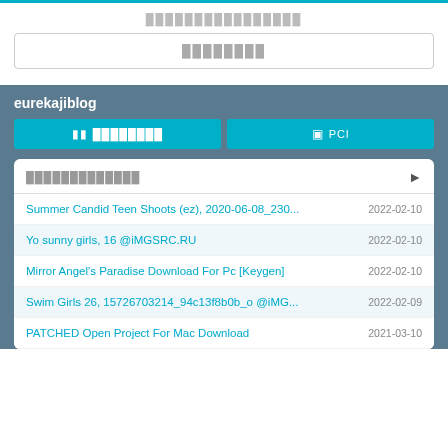████████████████
████████
eurekajiblog
█ ████████   □ PCl
█████████████
Summer Candid Teen Shoots (ez), 2020-06-08_230... 2022-02-10
Yo sunny girls, 16 @iMGSRC.RU 2022-02-10
Mirror Angel's Paradise Download For Pc [Keygen] 2022-02-10
Swim Girls 26, 15726703214_94c13f8b0b_o @iMG... 2022-02-09
PATCHED Open Project For Mac Download 2021-03-10